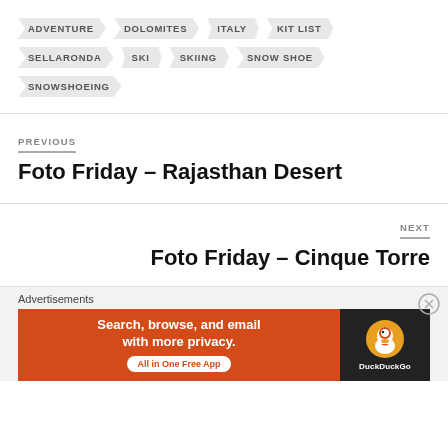ADVENTURE
DOLOMITES
ITALY
KIT LIST
SELLARONDA
SKI
SKIING
SNOW SHOE
SNOWSHOEING
PREVIOUS
Foto Friday – Rajasthan Desert
NEXT
Foto Friday – Cinque Torre
Advertisements
[Figure (screenshot): DuckDuckGo advertisement banner: Search, browse, and email with more privacy. All in One Free App. DuckDuckGo logo on dark background.]